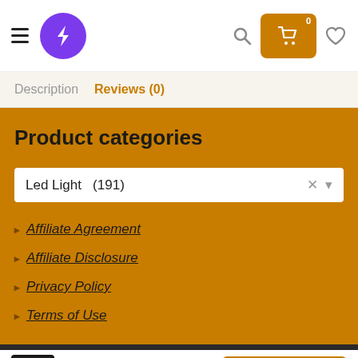[Figure (screenshot): Website header with hamburger menu, purple lightning bolt logo, search icon, orange cart button with badge '0', and heart icon]
Description   Reviews (0)
Product categories
Led Light  (191)
Affiliate Agreement
Affiliate Disclosure
Privacy Policy
Terms of Use
$24.99   BUY NOW